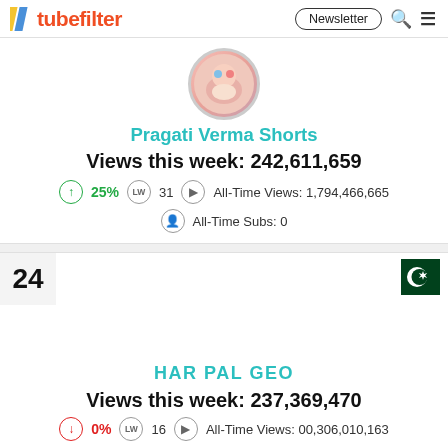tubefilter | Newsletter
[Figure (illustration): Circular avatar photo of Pragati Verma Shorts channel]
Pragati Verma Shorts
Views this week: 242,611,659
25% | LW 31 | All-Time Views: 1,794,466,665
All-Time Subs: 0
24
[Figure (illustration): Pakistan flag icon]
HAR PAL GEO
Views this week: 237,369,470
0% | LW 16 | All-Time Views: 00,306,010,163